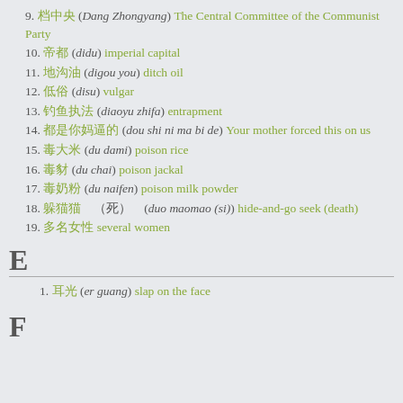9. 档中央 (Dang Zhongyang) The Central Committee of the Communist Party
10. 帝都 (didu) imperial capital
11. 地沟油 (digou you) ditch oil
12. 低俗 (disu) vulgar
13. 钓鱼执法 (diaoyu zhifa) entrapment
14. 都是你妈逼的 (dou shi ni ma bi de) Your mother forced this on us
15. 毒大米 (du dami) poison rice
16. 毒豺 (du chai) poison jackal
17. 毒奶粉 (du naifen) poison milk powder
18. 躲猫猫 （死） (duo maomao (si)) hide-and-go seek (death)
19. 多名女性 several women
E
1. 耳光 (er guang) slap on the face
F